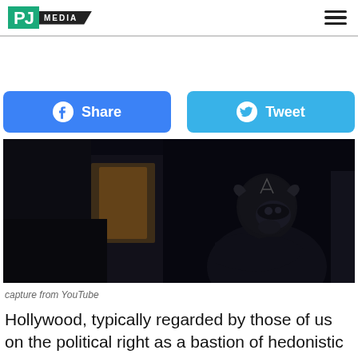PJ MEDIA
[Figure (other): Dark cinematic still of Captain America (superhero in black tactical suit and helmet with 'A' insignia) looking over his shoulder in a dimly lit scene. capture from YouTube.]
capture from YouTube
Hollywood, typically regarded by those of us on the political right as a bastion of hedonistic leftists, has lately been flecting that to some extent. Still in the...